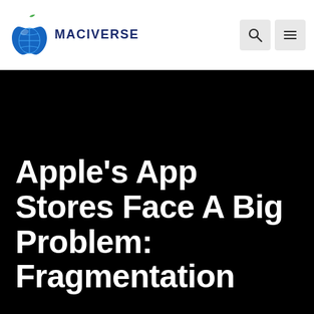MACIVERSE
Apple’s App Stores Face A Big Problem: Fragmentation